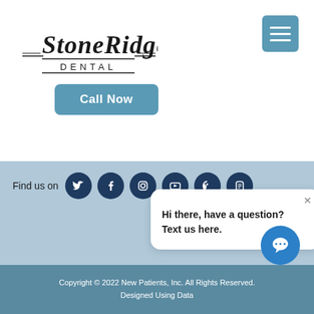[Figure (logo): StoneRidge Dental logo with stylized serif text]
[Figure (other): Hamburger menu icon button (teal/blue square with three white lines)]
Call Now
Find us on
[Figure (other): Social media icons: Twitter, Facebook, Instagram, YouTube, Pinterest, Blogger]
Hi there, have a question? Text us here.
[Figure (other): Chat bubble button icon (blue circle with speech bubble)]
Copyright © 2022 New Patients, Inc. All Rights Reserved. Designed Using Data